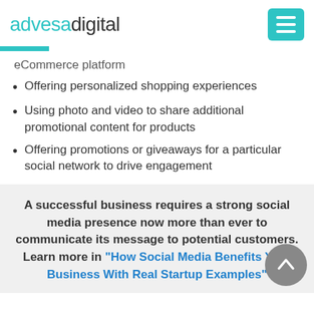advesadigital
eCommerce platform
Offering personalized shopping experiences
Using photo and video to share additional promotional content for products
Offering promotions or giveaways for a particular social network to drive engagement
A successful business requires a strong social media presence now more than ever to communicate its message to potential customers. Learn more in “How Social Media Benefits Your Business With Real Startup Examples”